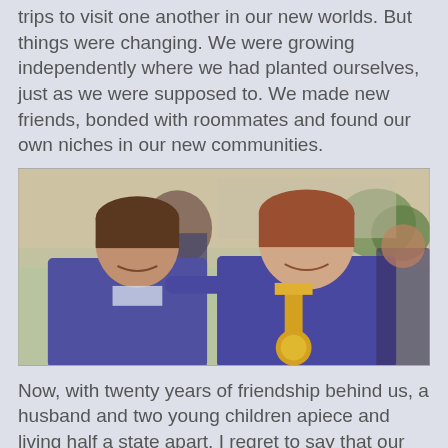trips to visit one another in our new worlds. But things were changing. We were growing independently where we had planted ourselves, just as we were supposed to. We made new friends, bonded with roommates and found our own niches in our new communities.
[Figure (photo): Two young women in blue graduation gowns smiling together. The woman on the right is wearing a gold medal/medallion around her neck. There are other people and trees visible in the background.]
Now, with twenty years of friendship behind us, a husband and two young children apiece and living half a state apart, I regret to say that our lives rarely intertwine outside of Facebook. But when, Joanna messaged last spring, saying